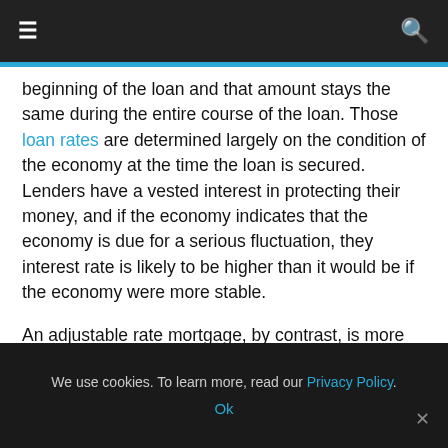≡  🔍
beginning of the loan and that amount stays the same during the entire course of the loan. Those loan rates are determined largely on the condition of the economy at the time the loan is secured. Lenders have a vested interest in protecting their money, and if the economy indicates that the economy is due for a serious fluctuation, they interest rate is likely to be higher than it would be if the economy were more stable.
An adjustable rate mortgage, by contrast, is more flexible, and still allows the lender to protect himself against fluctuations in the market. If the
We use cookies. To learn more, read our Privacy Policy. Ok